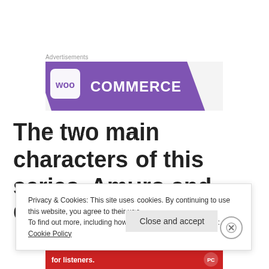Advertisements
[Figure (logo): WooCommerce advertisement banner with purple background and WooCommerce logo in white text]
The two main characters of this series, Amuro and Char really are
Privacy & Cookies: This site uses cookies. By continuing to use this website, you agree to their use.
To find out more, including how to control cookies, see here: Cookie Policy
[Figure (screenshot): Red Pocket Casts advertisement banner at bottom]